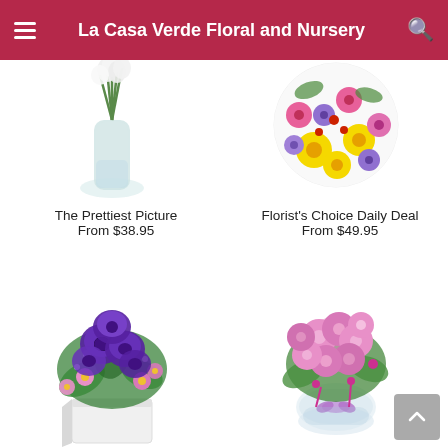La Casa Verde Floral and Nursery
[Figure (photo): White flowers in a glass vase, partially cropped at top]
[Figure (photo): Colorful mixed flower bouquet in circular crop with yellow, pink, purple, and red flowers]
The Prettiest Picture
From $38.95
Florist's Choice Daily Deal
From $49.95
[Figure (photo): Purple lisianthus and pink daisy bouquet in a white cube vase]
[Figure (photo): Pink chrysanthemum bouquet in a clear round vase with purple ribbon]